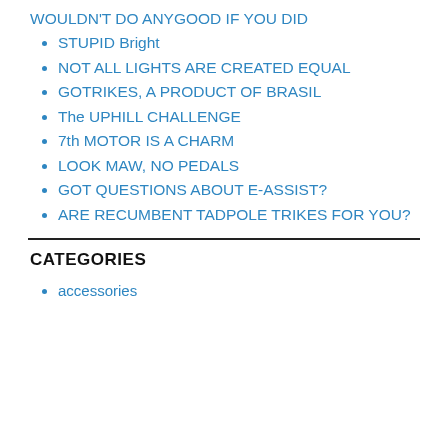WOULDN'T DO ANYGOOD IF YOU DID
STUPID Bright
NOT ALL LIGHTS ARE CREATED EQUAL
GOTRIKES, A PRODUCT OF BRASIL
The UPHILL CHALLENGE
7th MOTOR IS A CHARM
LOOK MAW, NO PEDALS
GOT QUESTIONS ABOUT E-ASSIST?
ARE RECUMBENT TADPOLE TRIKES FOR YOU?
CATEGORIES
accessories